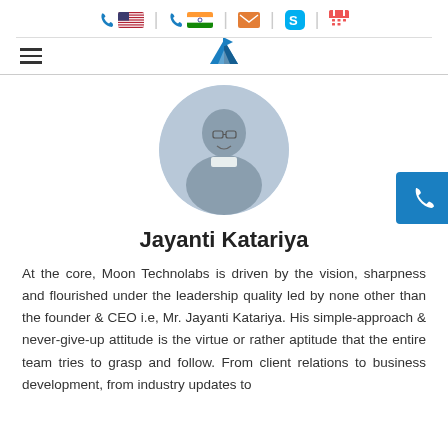Contact icons bar: US phone, India phone, email, Skype, calendar
[Figure (logo): Mountain/flag logo (Moon Technolabs) centered in nav bar]
[Figure (photo): Circular portrait photo of Jayanti Katariya]
Jayanti Katariya
At the core, Moon Technolabs is driven by the vision, sharpness and flourished under the leadership quality led by none other than the founder & CEO i.e, Mr. Jayanti Katariya. His simple-approach & never-give-up attitude is the virtue or rather aptitude that the entire team tries to grasp and follow. From client relations to business development, from industry updates to